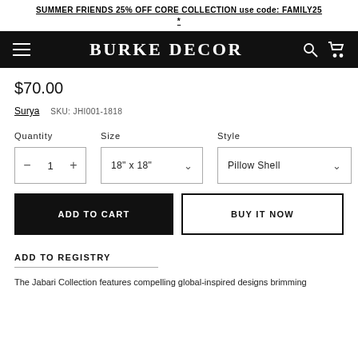SUMMER FRIENDS 25% OFF CORE COLLECTION use code: FAMILY25 *
[Figure (screenshot): Burke Decor navigation bar with hamburger menu, logo, search and cart icons on black background]
$70.00
Surya   SKU: JHI001-1818
Quantity   Size   Style
− 1 +   18" x 18" ∨   Pillow Shell ∨
ADD TO CART   BUY IT NOW
ADD TO REGISTRY
The Jabari Collection features compelling global-inspired designs brimming